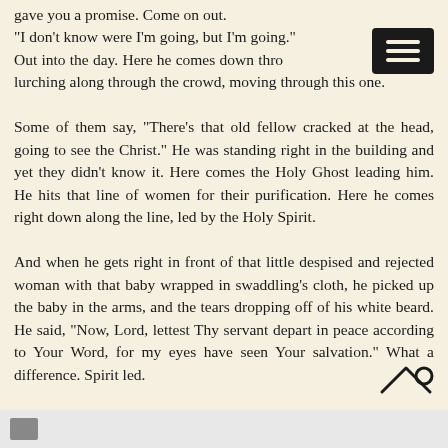gave you a promise. Come on out. "I don't know were I'm going, but I'm going." Out into the day. Here he comes down through the crowd, lurching along through the crowd, moving through this one. Some of them say, "There's that old fellow cracked at the head, going to see the Christ." He was standing right in the building and yet they didn't know it. Here comes the Holy Ghost leading him. He hits that line of women for their purification. Here he comes right down along the line, led by the Holy Spirit. And when he gets right in front of that little despised and rejected woman with that baby wrapped in swaddling's cloth, he picked up the baby in the arms, and the tears dropping off of his white beard. He said, "Now, Lord, lettest Thy servant depart in peace according to Your Word, for my eyes have seen Your salvation." What a difference. Spirit led.
[Figure (illustration): A scroll-up icon (house/mountain shape with a circle) at the bottom right of the text area]